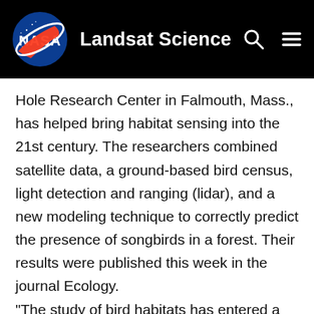NASA Landsat Science
Hole Research Center in Falmouth, Mass., has helped bring habitat sensing into the 21st century. The researchers combined satellite data, a ground-based bird census, light detection and ranging (lidar), and a new modeling technique to correctly predict the presence of songbirds in a forest. Their results were published this week in the journal Ecology. “The study of bird habitats has entered a new era,” said Goetz. “Until recently, predicting bird habitat was limited. We’ve known for many years